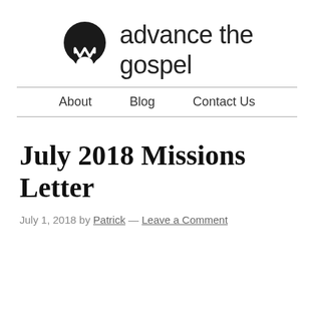[Figure (logo): Black circular logo with a stylized M shape at the bottom, resembling a mission/church brand mark]
advance the gospel
About   Blog   Contact Us
July 2018 Missions Letter
July 1, 2018 by Patrick — Leave a Comment